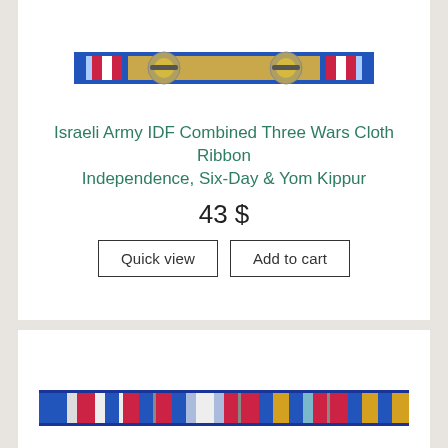[Figure (photo): Israeli Army IDF Combined Three Wars Cloth Ribbon showing the back side with two pin clasps, decorated with blue, red, and white stripes]
Israeli Army IDF Combined Three Wars Cloth Ribbon Independence, Six-Day & Yom Kippur
43 $
Quick view | Add to cart
[Figure (photo): Israeli Army IDF Combined ribbon bar showing colorful stripes in blue, white, red, and gold/tan colors]